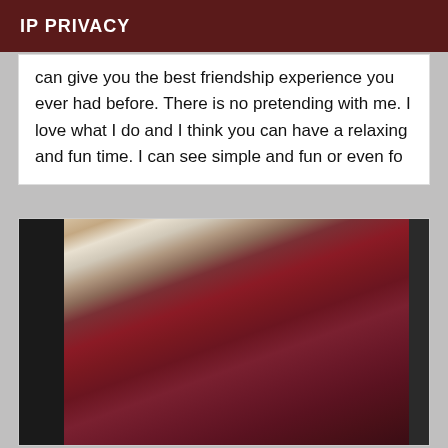IP PRIVACY
can give you the best friendship experience you ever had before. There is no pretending with me. I love what I do and I think you can have a relaxing and fun time. I can see simple and fun or even fo
[Figure (photo): A woman taking a mirror selfie wearing a dark red/maroon crop top and high-waisted leggings, with long braided hair, holding a white phone, standing in a bathroom or bedroom with dark mirror frame.]